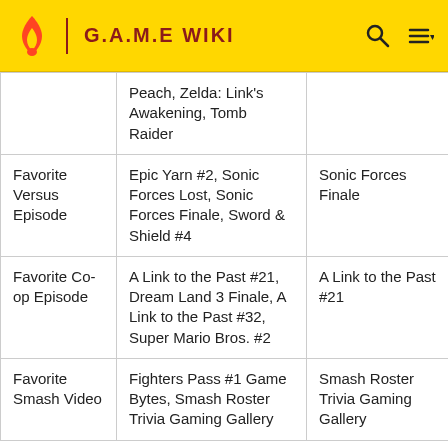G.A.M.E WIKI
|  |  |  |
| --- | --- | --- |
|  | Peach, Zelda: Link's Awakening, Tomb Raider |  |
| Favorite Versus Episode | Epic Yarn #2, Sonic Forces Lost, Sonic Forces Finale, Sword & Shield #4 | Sonic Forces Finale |
| Favorite Co-op Episode | A Link to the Past #21, Dream Land 3 Finale, A Link to the Past #32, Super Mario Bros. #2 | A Link to the Past #21 |
| Favorite Smash Video | Fighters Pass #1 Game Bytes, Smash Roster Trivia Gaming Gallery | Smash Roster Trivia Gaming Gallery |